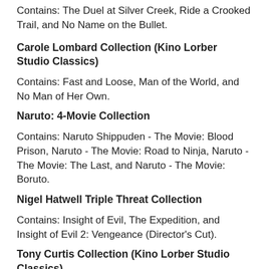Contains: The Duel at Silver Creek, Ride a Crooked Trail, and No Name on the Bullet.
Carole Lombard Collection (Kino Lorber Studio Classics)
Contains: Fast and Loose, Man of the World, and No Man of Her Own.
Naruto: 4-Movie Collection
Contains: Naruto Shippuden - The Movie: Blood Prison, Naruto - The Movie: Road to Ninja, Naruto - The Movie: The Last, and Naruto - The Movie: Boruto.
Nigel Hatwell Triple Threat Collection
Contains: Insight of Evil, The Expedition, and Insight of Evil 2: Vengeance (Director's Cut).
Tony Curtis Collection (Kino Lorber Studio Classics)
Contains: The Perfect Furlough, The Great Imposter, and 40 Pounds of Trouble.